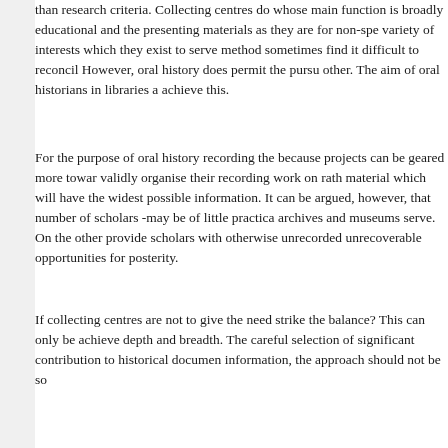than research criteria. Collecting centres do whose main function is broadly educational and the presenting materials as they are for non-spe variety of interests which they exist to serve method sometimes find it difficult to reconcil However, oral history does permit the pursu other. The aim of oral historians in libraries a achieve this.
For the purpose of oral history recording the because projects can be geared more towar validly organise their recording work on rath material which will have the widest possible information. It can be argued, however, that number of scholars -may be of little practica archives and museums serve. On the other provide scholars with otherwise unrecorded unrecoverable opportunities for posterity.
If collecting centres are not to give the need strike the balance? This can only be achieve depth and breadth. The careful selection of significant contribution to historical documen information, the approach should not be so